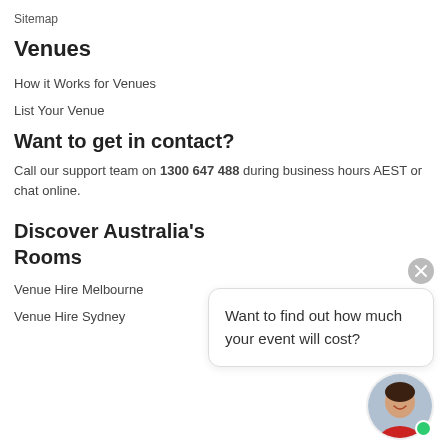Sitemap
Venues
How it Works for Venues
List Your Venue
Want to get in contact?
Call our support team on 1300 647 488 during business hours AEST or chat online.
Want to find out how much your event will cost?
Discover Australia's Rooms
Venue Hire Melbourne
Venue Hire Sydney